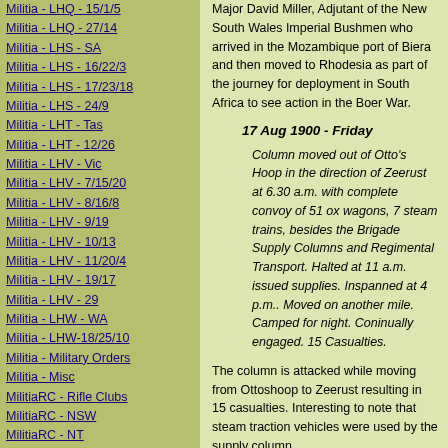Militia - LHQ - 15/1/5
Militia - LHQ - 27/14
Militia - LHS - SA
Militia - LHS - 16/22/3
Militia - LHS - 17/23/18
Militia - LHS - 24/9
Militia - LHT - Tas
Militia - LHT - 12/26
Militia - LHV - Vic
Militia - LHV - 7/15/20
Militia - LHV - 8/16/8
Militia - LHV - 9/19
Militia - LHV - 10/13
Militia - LHV - 11/20/4
Militia - LHV - 19/17
Militia - LHV - 29
Militia - LHW - WA
Militia - LHW-18/25/10
Militia - Military Orders
Militia - Misc
MilitiaRC - Rifle Clubs
MilitiaRC - NSW
MilitiaRC - NT
MilitiaRC - Qld
MilitiaRC - SA
MilitiaRC - Tas
MilitiaRC - Vic
MilitiaRC - WA
Major David Miller, Adjutant of the New South Wales Imperial Bushmen who arrived in the Mozambique port of Biera and then moved to Rhodesia as part of the journey for deployment in South Africa to see action in the Boer War.
17 Aug 1900 - Friday
Column moved out of Otto’s Hoop in the direction of Zeerust at 6.30 a.m. with complete convoy of 51 ox wagons, 7 steam trains, besides the Brigade Supply Columns and Regimental Transport. Halted at 11 a.m. issued supplies. Inspanned at 4 p.m.. Moved on another mile. Camped for night. Coninually engaged. 15 Casualties.
The column is attacked while moving from Ottoshoop to Zeerust resulting in 15 casualties. Interesting to note that steam traction vehicles were used by the supply column.